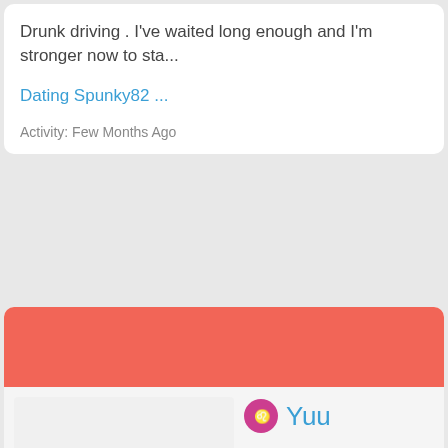Drunk driving . I've waited long enough and I'm stronger now to sta...
Dating Spunky82 ...
Activity: Few Months Ago
[Figure (screenshot): Red/salmon colored banner strip]
[Figure (photo): Profile photo placeholder area, light gray]
Yuu
23 y/o man from Los Angeles, USA
seeking a woman from 18 to 26 years old
...
Dating
Yuu